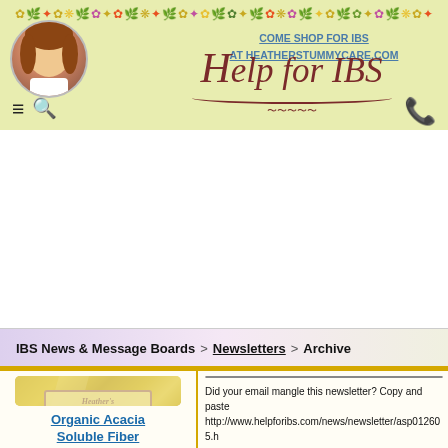COME SHOP FOR IBS AT HEATHERSTUMMYCARE.COM
Help for IBS
IBS News & Message Boards > Newsletters > Archive
[Figure (photo): Product photo of Heather's Tummy Fibers Organic Acacia Soluble Fiber bag]
Organic Acacia Soluble Fiber
[Figure (screenshot): Heather's newsletter header banner with floral decoration]
Did your email mangle this newsletter? Copy and paste
http://www.helpforibs.com/news/newsletter/asp012605.h
January 26, 2005
This week - Snacks for IBS
Hello to everyone -